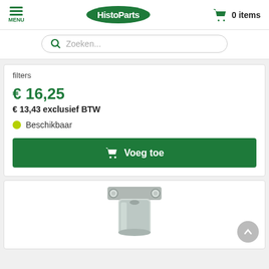HistoParts — MENU | 0 items
Zoeken...
filters
€ 16,25
€ 13,43 exclusief BTW
Beschikbaar
Voeg toe
[Figure (photo): Partial view of a metal fuel filter / oil filter component, viewed from top, showing mounting bracket with holes and a cylindrical body.]